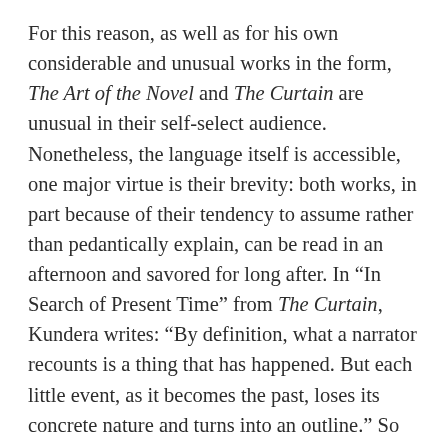For this reason, as well as for his own considerable and unusual works in the form, The Art of the Novel and The Curtain are unusual in their self-select audience. Nonetheless, the language itself is accessible, one major virtue is their brevity: both works, in part because of their tendency to assume rather than pedantically explain, can be read in an afternoon and savored for long after. In “In Search of Present Time” from The Curtain, Kundera writes: “By definition, what a narrator recounts is a thing that has happened. But each little event, as it becomes the past, loses its concrete nature and turns into an outline.” So too with each little observation Kundera makes, each grand point, until we have lost the thread of the novel’s art and must grope in the darkness for it again. He is at his best when he pronounces: “the novel remains to use the last observatory from which we can